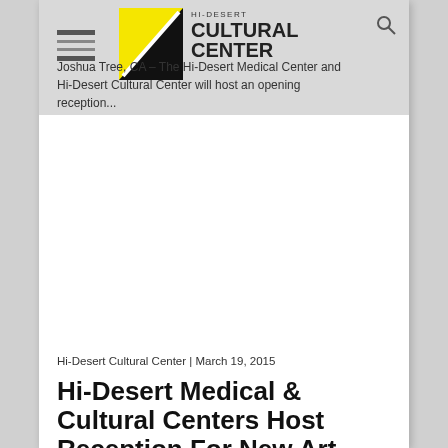[Figure (logo): Hi-Desert Cultural Center logo with yellow square and diagonal slash, hamburger menu icon, search icon, and partial article preview text]
Joshua Tree, CA – The Hi-Desert Medical Center and Hi-Desert Cultural Center will host an opening reception...
Hi-Desert Cultural Center | March 19, 2015
Hi-Desert Medical & Cultural Centers Host Reception For New Art Exhibits
Friday, March 20, 4 to 7 pm JOSHUA TREE, CA – The Hi-